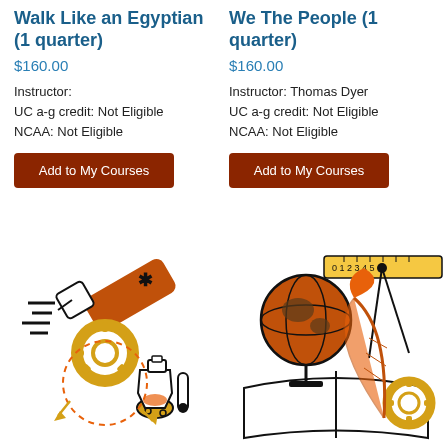Walk Like an Egyptian (1 quarter)
$160.00
Instructor:
UC a-g credit: Not Eligible
NCAA: Not Eligible
Add to My Courses
We The People (1 quarter)
$160.00
Instructor: Thomas Dyer
UC a-g credit: Not Eligible
NCAA: Not Eligible
Add to My Courses
[Figure (illustration): Science and technology illustration with telescope, gear, flask, and beaker icons in orange, yellow, and black]
[Figure (illustration): Education illustration with globe, compass, ruler, quill pen, book, and gear icons in orange, yellow, and black]